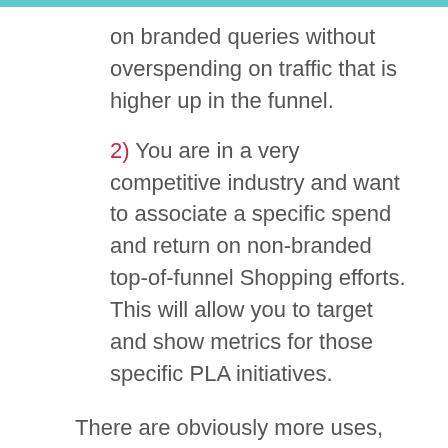on branded queries without overspending on traffic that is higher up in the funnel.
2)  You are in a very competitive industry and want to associate a specific spend and return on non-branded top-of-funnel Shopping efforts. This will allow you to target and show metrics for those specific PLA initiatives.
There are obviously more uses, but these are a couple situations where I've benefitted from this type of structure. So, if you think it makes